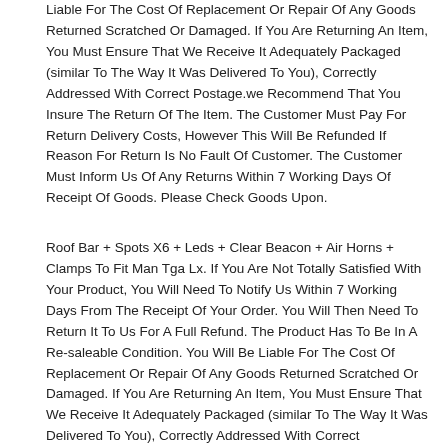Liable For The Cost Of Replacement Or Repair Of Any Goods Returned Scratched Or Damaged. If You Are Returning An Item, You Must Ensure That We Receive It Adequately Packaged (similar To The Way It Was Delivered To You), Correctly Addressed With Correct Postage.we Recommend That You Insure The Return Of The Item. The Customer Must Pay For Return Delivery Costs, However This Will Be Refunded If Reason For Return Is No Fault Of Customer. The Customer Must Inform Us Of Any Returns Within 7 Working Days Of Receipt Of Goods. Please Check Goods Upon.
Roof Bar + Spots X6 + Leds + Clear Beacon + Air Horns + Clamps To Fit Man Tga Lx. If You Are Not Totally Satisfied With Your Product, You Will Need To Notify Us Within 7 Working Days From The Receipt Of Your Order. You Will Then Need To Return It To Us For A Full Refund. The Product Has To Be In A Re-saleable Condition. You Will Be Liable For The Cost Of Replacement Or Repair Of Any Goods Returned Scratched Or Damaged. If You Are Returning An Item, You Must Ensure That We Receive It Adequately Packaged (similar To The Way It Was Delivered To You), Correctly Addressed With Correct Postage.we Recommend That You Insure The Return Of The Item. The Customer Must Pay For Return Delivery Costs, However This Will Be Refunded If Reason For Return Is No Fault Of Customer. The Customer Must Inform Us Of A...